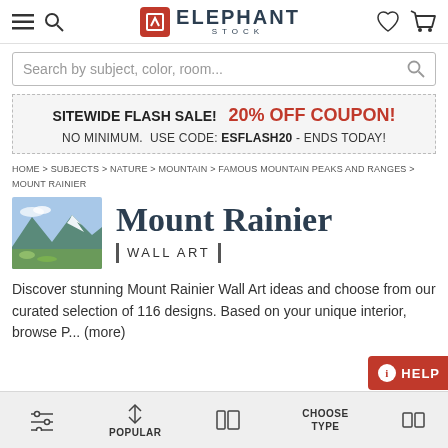ElephantStock navigation header with hamburger menu, search, logo, heart and cart icons
Search by subject, color, room...
SITEWIDE FLASH SALE!  20% OFF COUPON!  NO MINIMUM.  USE CODE: ESFLASH20 - ENDS TODAY!
HOME > SUBJECTS > NATURE > MOUNTAIN > FAMOUS MOUNTAIN PEAKS AND RANGES > MOUNT RAINIER
Mount Rainier
WALL ART
Discover stunning Mount Rainier Wall Art ideas and choose from our curated selection of 116 designs. Based on your unique interior, browse P... (more)
Filter controls: POPULAR, CHOOSE TYPE